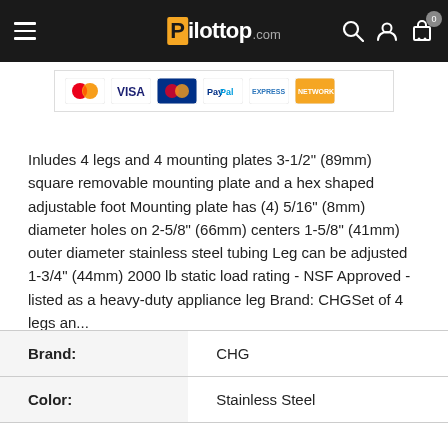Pilottop.com
[Figure (other): Payment method icons: Mastercard, Visa, Mastercard (blue), PayPal, American Express, Network]
Inludes 4 legs and 4 mounting plates 3-1/2" (89mm) square removable mounting plate and a hex shaped adjustable foot Mounting plate has (4) 5/16" (8mm) diameter holes on 2-5/8" (66mm) centers 1-5/8" (41mm) outer diameter stainless steel tubing Leg can be adjusted 1-3/4" (44mm) 2000 lb static load rating - NSF Approved - listed as a heavy-duty appliance leg Brand: CHGSet of 4 legs an...
|  |  |
| --- | --- |
| Brand: | CHG |
| Color: | Stainless Steel |